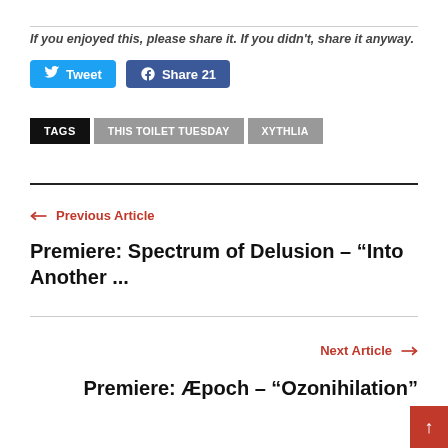If you enjoyed this, please share it. If you didn't, share it anyway.
[Figure (other): Tweet button (Twitter/X blue) and Share 21 button (Facebook blue)]
TAGS   THIS TOILET TUESDAY   XYTHLIA
← Previous Article
Premiere: Spectrum of Delusion – "Into Another ..."
Next Article →
Premiere: Æpoch – "Ozonihilation"